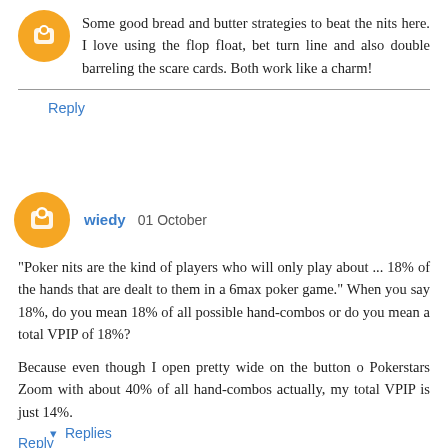Some good bread and butter strategies to beat the nits here. I love using the flop float, bet turn line and also double barreling the scare cards. Both work like a charm!
Reply
wiedy 01 October
"Poker nits are the kind of players who will only play about ... 18% of the hands that are dealt to them in a 6max poker game." When you say 18%, do you mean 18% of all possible hand-combos or do you mean a total VPIP of 18%?
Because even though I open pretty wide on the button o Pokerstars Zoom with about 40% of all hand-combos actually, my total VPIP is just 14%.
Reply
Replies